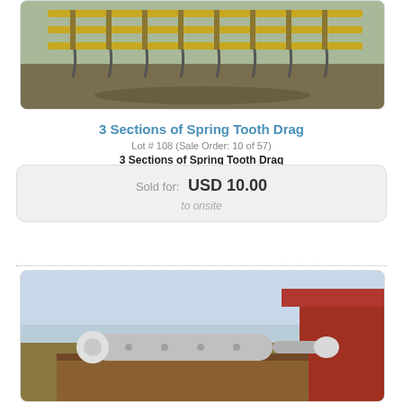[Figure (photo): Photo of 3 sections of spring tooth drag farm equipment lying on the ground, showing yellow metal tines and frames]
3 Sections of Spring Tooth Drag
Lot # 108 (Sale Order: 10 of 57)
3 Sections of Spring Tooth Drag
Sold for: USD 10.00
to onsite
[Figure (photo): Photo of farm equipment showing a hydraulic or auger component on a wooden surface with a red barn and field in background]